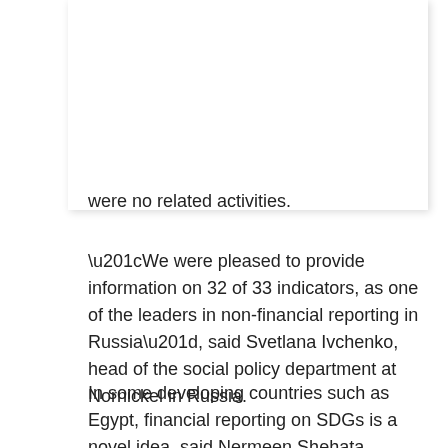were no related activities.
“We were pleased to provide information on 32 of 33 indicators, as one of the leaders in non-financial reporting in Russia”, said Svetlana Ivchenko, head of the social policy department at Nornickel in Russia.
In some developing countries such as Egypt, financial reporting on SDGs is a novel idea, said Nermeen Shehata, associate professor at the American University in Cairo. “Company officials are unaware of the needed SDGs disclosure requirements and their importance. They need education on the benefits”, she said.